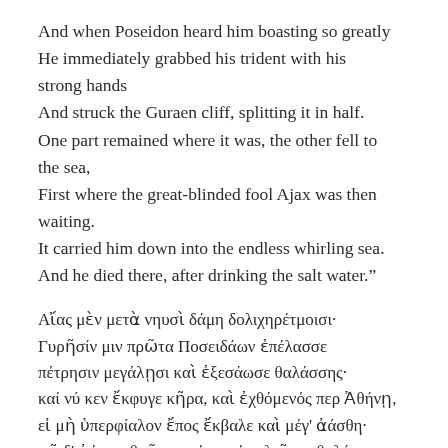And when Poseidon heard him boasting so greatly
He immediately grabbed his trident with his strong hands
And struck the Guraen cliff, splitting it in half.
One part remained where it was, the other fell to the sea,
First where the great-blinded fool Ajax was then waiting.
It carried him down into the endless whirling sea.
And he died there, after drinking the salt water."
Αἴας μὲν μετὰ νηυσὶ δάμη δολιχηρέτμοισι·
Γυρῆσίν μιν πρῶτα Ποσειδάων ἐπέλασσε πέτρησιν μεγάλῃσι καὶ ἐξεσάωσε θαλάσσης·
καί νύ κεν ἔκφυγε κῆρα, καὶ ἐχθόμενός περ Ἀθήνῃ,
εἰ μὴ ὑπερφίαλον ἔπος ἔκβαλε καὶ μέγ' ἀάσθη·
φῆ δ' ἀέκητι θεῶν φυγέειν μέγα λαῖτμα θαλάσσης.